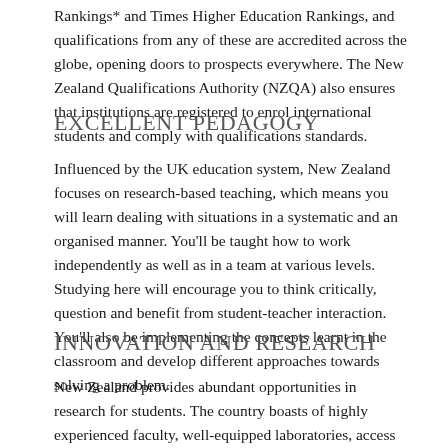Rankings* and Times Higher Education Rankings, and qualifications from any of these are accredited across the globe, opening doors to prospects everywhere. The New Zealand Qualifications Authority (NZQA) also ensures that institutions are registered to enrol international students and comply with qualifications standards.
EXCELLENT PEDAGOGY
Influenced by the UK education system, New Zealand focuses on research-based teaching, which means you will learn dealing with situations in a systematic and an organised manner. You'll be taught how to work independently as well as in a team at various levels. Studying here will encourage you to think critically, question and benefit from student-teacher interaction. You'll also be implementing the concepts learnt in the classroom and develop different approaches towards solving a problem.
INNOVATION AND RESEARCH
New Zealand provides abundant opportunities in research for students. The country boasts of highly experienced faculty, well-equipped laboratories, access to latest technology, equipments, and opportunities. Its innovative spirit has made it a hub of new technologies, research and development in various fields such as